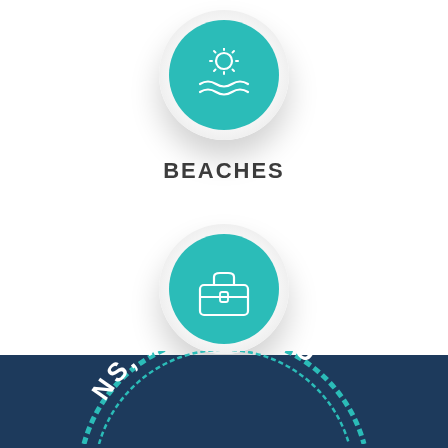[Figure (infographic): Teal circular icon with beach/waves symbol labeled BEACHES]
BEACHES
[Figure (infographic): Teal circular icon with briefcase/employment symbol labeled EMPLOYMENT]
EMPLOYMENT
[Figure (logo): Partial logo arc with text reading NS, MASSACHU... on dark navy background, Orleans Massachusetts town seal]